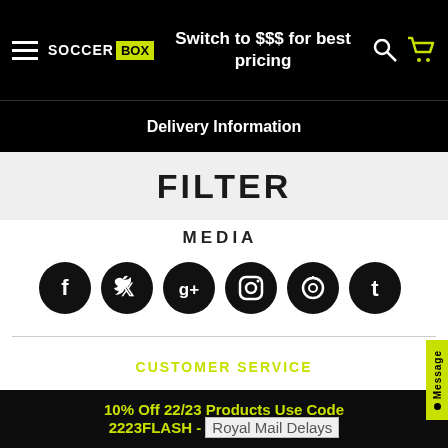[Figure (screenshot): Soccer Box logo with hamburger menu on black navigation bar]
Switch to $$$ for best pricing
Delivery Information
FILTER
MEDIA
[Figure (infographic): Social media icons: Facebook, Twitter, Google+, Instagram, Pinterest, Tumblr]
CUSTOMER SERVICE
10% Off 22/23 Products Use Code 2223FLASH - Royal Mail Delays